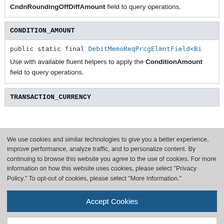CndnRoundingOffDiffAmount field to query operations.
CONDITION_AMOUNT
public static final DebitMemoReqPrcgElmntField<Bi
Use with available fluent helpers to apply the ConditionAmount field to query operations.
TRANSACTION_CURRENCY
We use cookies and similar technologies to give you a better experience, improve performance, analyze traffic, and to personalize content. By continuing to browse this website you agree to the use of cookies. For more information on how this website uses cookies, please select "Privacy Policy." To opt-out of cookies, please select "More Information."
Accept Cookies
More Information
Privacy Policy | Powered by: TrustArc
Use with available fluent helpers to apply the